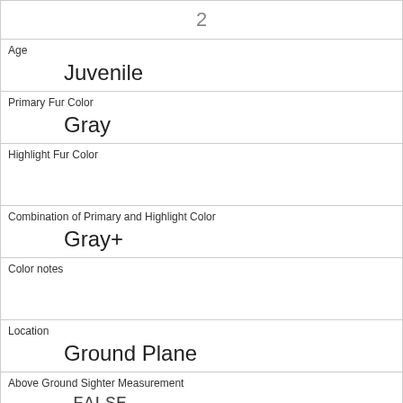| 2 |
| Age | Juvenile |
| Primary Fur Color | Gray |
| Highlight Fur Color |  |
| Combination of Primary and Highlight Color | Gray+ |
| Color notes |  |
| Location | Ground Plane |
| Above Ground Sighter Measurement | FALSE |
| Specific Location | bush |
| Running | 0 |
| Chasing |  |